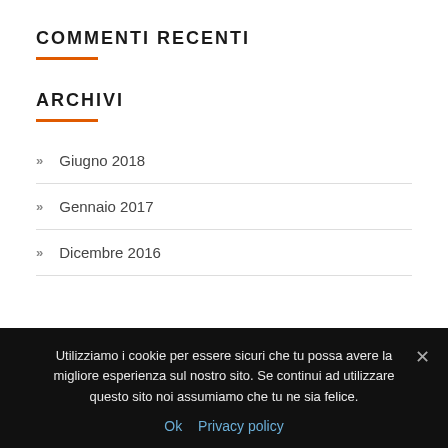COMMENTI RECENTI
ARCHIVI
Giugno 2018
Gennaio 2017
Dicembre 2016
Utilizziamo i cookie per essere sicuri che tu possa avere la migliore esperienza sul nostro sito. Se continui ad utilizzare questo sito noi assumiamo che tu ne sia felice.
Ok  Privacy policy